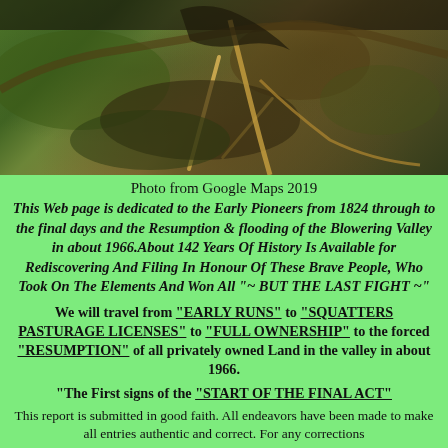[Figure (photo): Aerial/satellite photo of a valley and terrain with a road visible, from Google Maps 2019]
Photo from Google Maps 2019
This Web page is dedicated to the Early Pioneers from 1824 through to the final days and the Resumption & flooding of the Blowering Valley in about 1966.About 142 Years Of History Is Available for Rediscovering And Filing In Honour Of These Brave People, Who Took On The Elements And Won All "~ BUT THE LAST FIGHT ~"
We will travel from "EARLY RUNS" to "SQUATTERS PASTURAGE LICENSES" to "FULL OWNERSHIP" to the forced "RESUMPTION" of all privately owned Land in the valley in about 1966.
"The First signs of the "START OF THE FINAL ACT"
This report is submitted in good faith. All endeavors have been made to make all entries authentic and correct. For any corrections